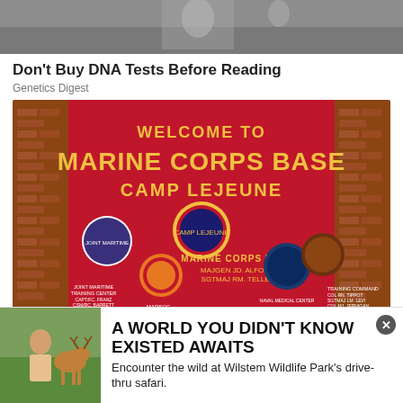[Figure (photo): Black and white historical photo at top, partially visible]
Don't Buy DNA Tests Before Reading
Genetics Digest
[Figure (photo): Welcome to Marine Corps Base Camp Lejeune sign with military insignias and brick pillars]
[Figure (photo): Advertisement: child with a deer at Wilstem Wildlife Park]
A WORLD YOU DIDN'T KNOW EXISTED AWAITS
Encounter the wild at Wilstem Wildlife Park's drive-thru safari.